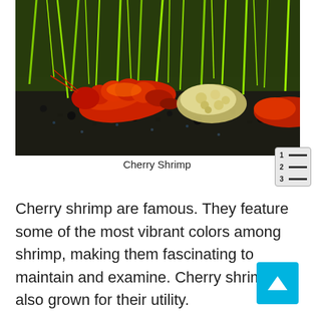[Figure (photo): Close-up photo of red cherry shrimp on dark aquarium substrate with green aquatic plants in the background, feeding on what appears to be food pellets.]
Cherry Shrimp
Cherry shrimp are famous. They feature some of the most vibrant colors among shrimp, making them fascinating to maintain and examine. Cherry shrimp are also grown for their utility.